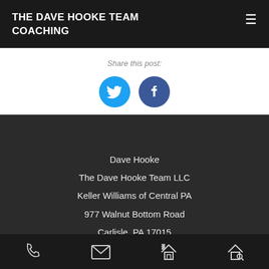THE DAVE HOOKE TEAM COACHING
Share this post:
[Figure (illustration): Twitter and Facebook share buttons as circular icons - Twitter (blue) and Facebook (dark blue)]
Dave Hooke
The Dave Hooke Team LLC
Keller Williams of Central PA
977 Walnut Bottom Road
Carlisle, PA 17015
Navigation icons: phone, email, home, search